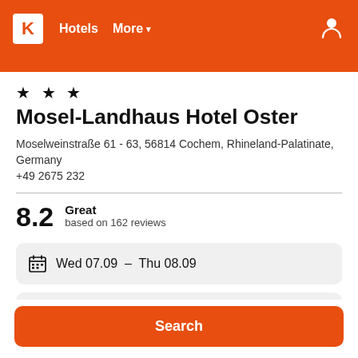K  Hotels  More
★ ★ ★
Mosel-Landhaus Hotel Oster
Moselweinstraße 61 - 63, 56814 Cochem, Rhineland-Palatinate, Germany
+49 2675 232
8.2  Great  based on 162 reviews
Wed 07.09  –  Thu 08.09
1 room, 2 guests
Search